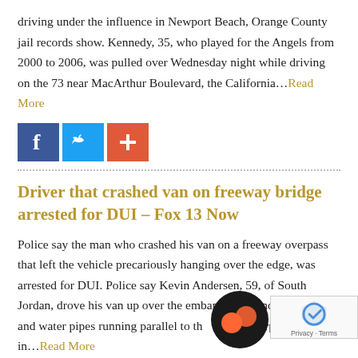driving under the influence in Newport Beach, Orange County jail records show. Kennedy, 35, who played for the Angels from 2000 to 2006, was pulled over Wednesday night while driving on the 73 near MacArthur Boulevard, the California…Read More
[Figure (infographic): Social sharing icons: Facebook (blue), Twitter (light blue), and a red plus/share button]
Driver that crashed van on freeway bridge arrested for DUI – Fox 13 Now
Police say the man who crashed his van on a freeway overpass that left the vehicle precariously hanging over the edge, was arrested for DUI. Police say Kevin Andersen, 59, of South Jordan, drove his van up over the embankment landing on gas and water pipes running parallel to the So overpass bridge in…Read More
[Figure (infographic): Social sharing icons: Facebook (blue), Twitter (light blue), and a red plus/share button]